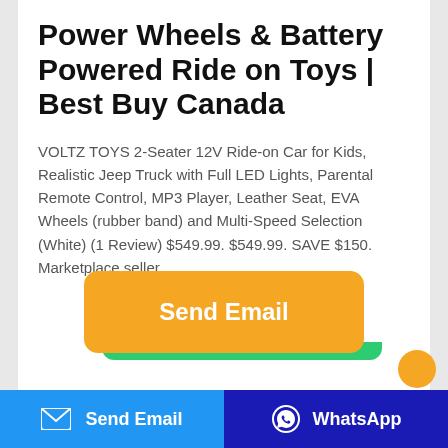Power Wheels & Battery Powered Ride on Toys | Best Buy Canada
VOLTZ TOYS 2-Seater 12V Ride-on Car for Kids, Realistic Jeep Truck with Full LED Lights, Parental Remote Control, MP3 Player, Leather Seat, EVA Wheels (rubber band) and Multi-Speed Selection (White) (1 Review) $549.99. $549.99. SAVE $150. Marketplace seller.
[Figure (screenshot): Orange 'Send Email' button with rounded corners, partially overlapping a green bar beneath it, and an orange circle partially visible at bottom right]
[Figure (screenshot): Bottom navigation bar with two buttons: blue 'Send Email' button with envelope icon on the left, and dark blue 'WhatsApp' button with WhatsApp icon on the right]